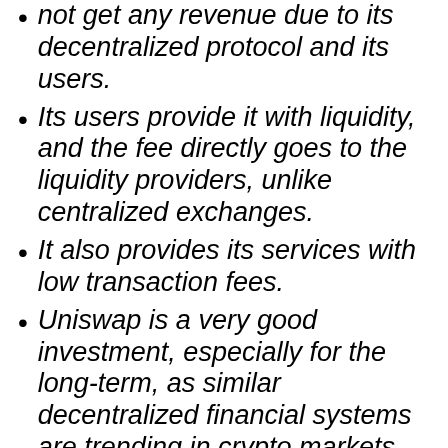not get any revenue due to its decentralized protocol and its users.
Its users provide it with liquidity, and the fee directly goes to the liquidity providers, unlike centralized exchanges.
It also provides its services with low transaction fees.
Uniswap is a very good investment, especially for the long-term, as similar decentralized financial systems are trending in crypto markets.
Due to its competent, resilient, and uniform global economy, the maximum price of Uniswap can hit $22 in 2023.
The maximum price can be $100 in